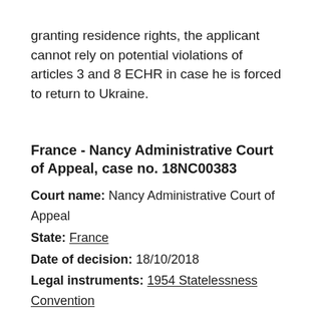granting residence rights, the applicant cannot rely on potential violations of articles 3 and 8 ECHR in case he is forced to return to Ukraine.
France - Nancy Administrative Court of Appeal, case no. 18NC00383
Court name: Nancy Administrative Court of Appeal
State: France
Date of decision: 18/10/2018
Legal instruments: 1954 Statelessness Convention
Key aspects: Burden of proof, Exclusion grounds, Residence permit, Respect for private and family life